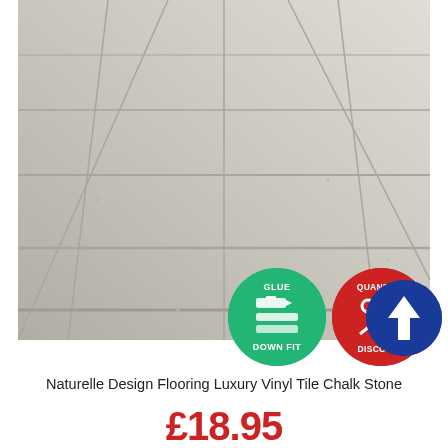[Figure (photo): Luxury vinyl tile chalk stone flooring photo showing light grey/beige stone-look tiles laid in a large format pattern, photographed from a low angle perspective]
[Figure (infographic): Three circular badges overlaid on the product image: a green badge reading GLUE DOWN FIT with a flooring installation icon, a red badge reading QUANITITY DISCOUNT with a percent sign, and a blue badge with an upward arrow]
Naturelle Design Flooring Luxury Vinyl Tile Chalk Stone
£18.95